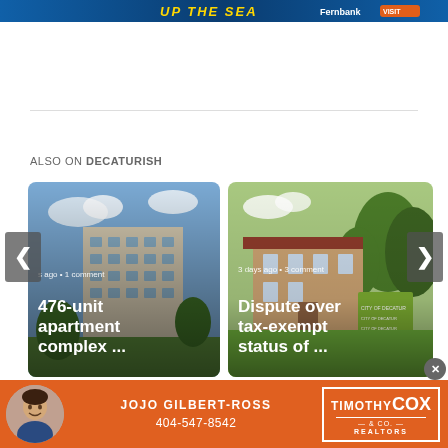[Figure (photo): Top banner advertisement with yellow text 'UP THE SEA' on blue background with Fernbank branding]
ALSO ON DECATURISH
[Figure (photo): Card showing a 476-unit apartment complex building rendering, with text '...s ago • 1 comment' and title '476-unit apartment complex ...']
[Figure (photo): Card showing a building with green lawn, with text '3 days ago • 3 comments' and title 'Dispute over tax-exempt status of ...']
[Figure (photo): Bottom advertisement banner for Jojo Gilbert-Ross, Timothy Cox & Co. Realtors, phone 404-547-8542]